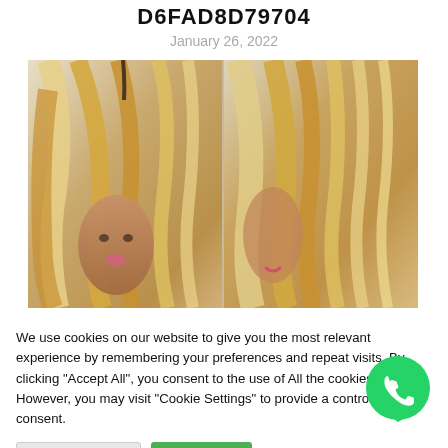D6FAD8D79704
January 26, 2022
[Figure (photo): Two side-by-side photos of a mannequin/person wearing a long blonde straight wig — front-left view and side/back view.]
We use cookies on our website to give you the most relevant experience by remembering your preferences and repeat visits. By clicking "Accept All", you consent to the use of All the cookies. However, you may visit "Cookie Settings" to provide a controlled consent.
Cookie Settings  Accept All